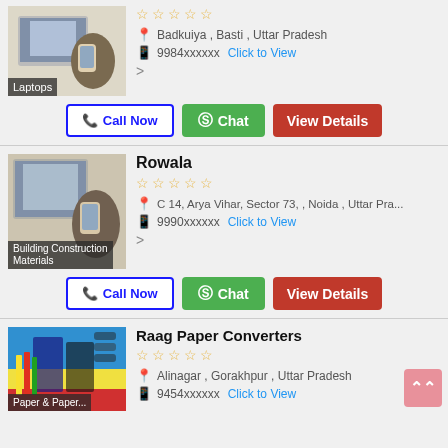[Figure (photo): Person holding a phone with a laptop in background, labeled Laptops]
Badkuiya , Basti , Uttar Pradesh
9984xxxxxx  Click to View
Call Now | Chat | View Details (first card)
Rowala
[Figure (photo): Person holding a phone with a laptop in background, labeled Building Construction Materials]
C 14, Arya Vihar, Sector 73, , Noida , Uttar Pra...
9990xxxxxx  Click to View
Call Now | Chat | View Details (second card)
Raag Paper Converters
[Figure (photo): Stationery items including pencils and notebooks, labeled Paper & Paper]
Alinagar , Gorakhpur , Uttar Pradesh
9454xxxxxx  Click to View